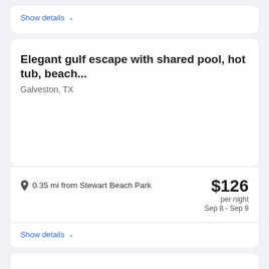Show details ∨
Elegant gulf escape with shared pool, hot tub, beach...
Galveston, TX
0.35 mi from Stewart Beach Park
$126 per night Sep 8 - Sep 9
Show details ∨
Best Western Plus Seawall Inn & Suites By The Beach